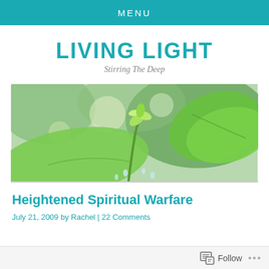MENU
LIVING LIGHT
Stirring The Deep
[Figure (photo): Close-up photo of green plant leaves and sprouting buds with water droplets, blurred background]
Heightened Spiritual Warfare
July 21, 2009 by Rachel | 22 Comments
Follow ...